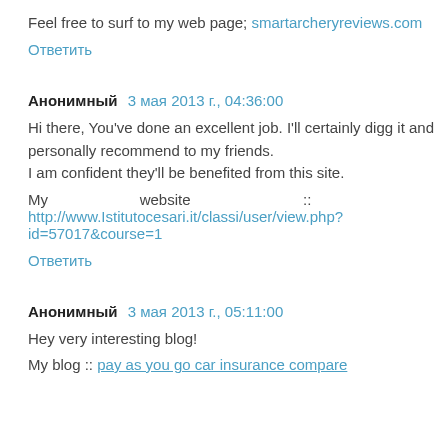Feel free to surf to my web page; smartarcheryreviews.com
Ответить
Анонимный  3 мая 2013 г., 04:36:00
Hi there, You've done an excellent job. I'll certainly digg it and personally recommend to my friends.
I am confident they'll be benefited from this site.
My                    website                    ::
http://www.Istitutocesari.it/classi/user/view.php?id=57017&course=1
Ответить
Анонимный  3 мая 2013 г., 05:11:00
Hey very interesting blog!
My blog :: pay as you go car insurance compare